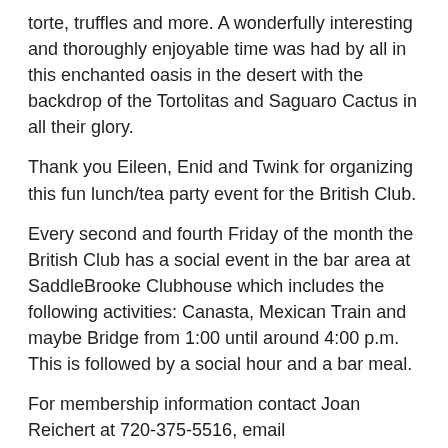torte, truffles and more. A wonderfully interesting and thoroughly enjoyable time was had by all in this enchanted oasis in the desert with the backdrop of the Tortolitas and Saguaro Cactus in all their glory.
Thank you Eileen, Enid and Twink for organizing this fun lunch/tea party event for the British Club.
Every second and fourth Friday of the month the British Club has a social event in the bar area at SaddleBrooke Clubhouse which includes the following activities: Canasta, Mexican Train and maybe Bridge from 1:00 until around 4:00 p.m. This is followed by a social hour and a bar meal.
For membership information contact Joan Reichert at 720-375-5516, email nanny471055@gmail.com.
Membership is open to any person who was born in Britain or the Commonwealth or holds or has previously held a British passport and is a current homeowner of SBHOA1, SBHOA2 or SaddleBrooke Ranch.